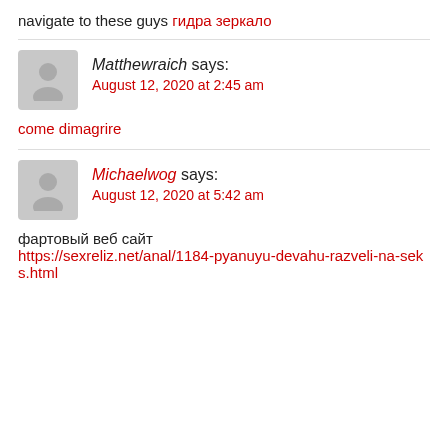navigate to these guys гидра зеркало
Matthewraich says:
August 12, 2020 at 2:45 am
come dimagrire
Michaelwog says:
August 12, 2020 at 5:42 am
фартовый веб сайт
https://sexreliz.net/anal/1184-pyanuyu-devahu-razveli-na-seks.html